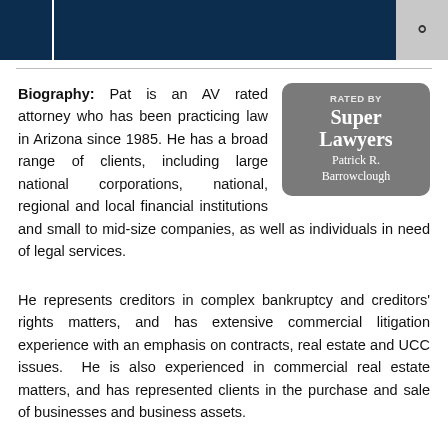[Figure (logo): Super Lawyers badge: RATED BY Super Lawyers, Patrick R. Barrowclough]
Biography: Pat is an AV rated attorney who has been practicing law in Arizona since 1985. He has a broad range of clients, including large national corporations, national, regional and local financial institutions and small to mid-size companies, as well as individuals in need of legal services.
He represents creditors in complex bankruptcy and creditors' rights matters, and has extensive commercial litigation experience with an emphasis on contracts, real estate and UCC issues. He is also experienced in commercial real estate matters, and has represented clients in the purchase and sale of businesses and business assets.